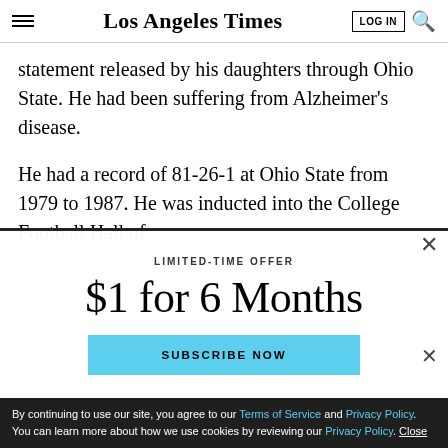Los Angeles Times | LOG IN | Search
statement released by his daughters through Ohio State. He had been suffering from Alzheimer's disease.
He had a record of 81-26-1 at Ohio State from 1979 to 1987. He was inducted into the College Football Hall of
LIMITED-TIME OFFER
$1 for 6 Months
SUBSCRIBE NOW
By continuing to use our site, you agree to our Terms of Service and Privacy Policy. You can learn more about how we use cookies by reviewing our Privacy Policy. Close